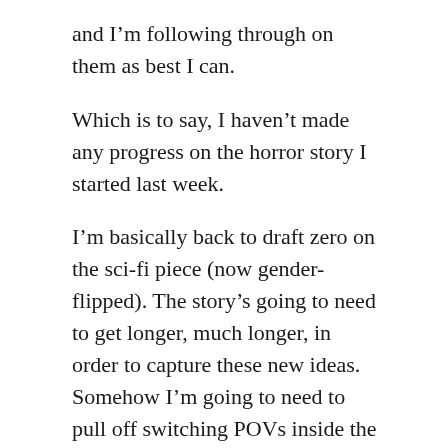and I'm following through on them as best I can.
Which is to say, I haven't made any progress on the horror story I started last week.
I'm basically back to draft zero on the sci-fi piece (now gender-flipped). The story's going to need to get longer, much longer, in order to capture these new ideas. Somehow I'm going to need to pull off switching POVs inside the short story form, which is usually a no-no.
And it might still be! But I won't know for sure until I try it out. Maybe switching POV between scenes will be a disaster. Maybe I'll read the new draft through and find it's a horrible mess. But then again, maybe I won't.
So I'm trying to give myself the freedom to explore. I'm